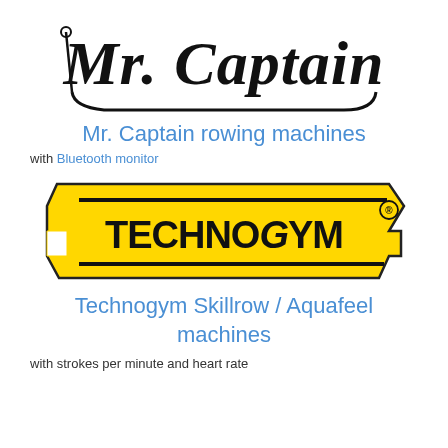[Figure (logo): Mr. Captain logo — stylized script text 'Mr. Captain' with a boat/ship line illustration beneath it]
Mr. Captain rowing machines
with Bluetooth monitor
[Figure (logo): Technogym logo — bold black text 'TECHNOGYM' on a yellow badge/nameplate shaped background with a registered trademark symbol]
Technogym Skillrow / Aquafeel machines
with strokes per minute and heart rate